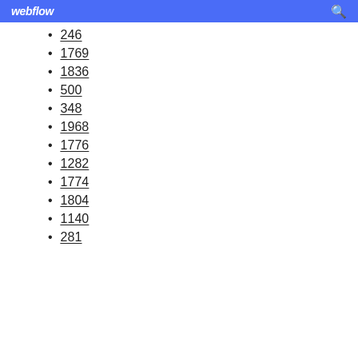webflow
246
1769
1836
500
348
1968
1776
1282
1774
1804
1140
281